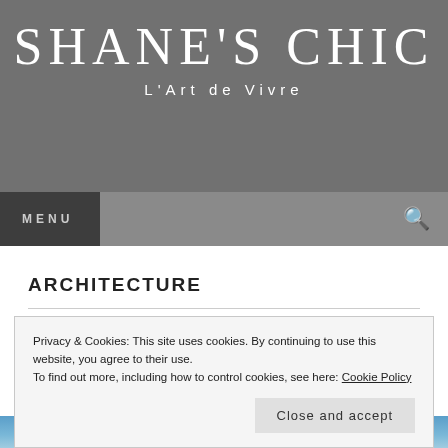SHANE'S CHIC
L'Art de Vivre
MENU
ARCHITECTURE
Privacy & Cookies: This site uses cookies. By continuing to use this website, you agree to their use.
To find out more, including how to control cookies, see here: Cookie Policy
Close and accept
[Figure (photo): Blue sky or water image strip at the bottom of the page]